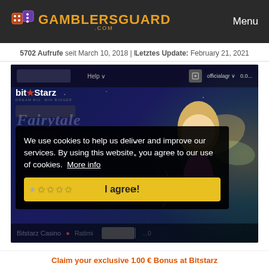GAMBLERSGUARD.COM | Menu
5702 Aufrufe seit March 10, 2018 | Letztes Update: February 21, 2021
[Figure (screenshot): BitStarz Casino website screenshot showing the Fairytale Legends game with a cookie consent overlay. The overlay reads: We use cookies to help us deliver and improve our services. By using this website, you agree to our use of cookies. More info. An I agree! button with star ratings is shown.]
Claim your exclusive 100 € Bonus at Bitstarz